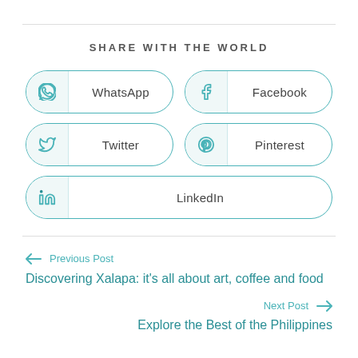SHARE WITH THE WORLD
WhatsApp
Facebook
Twitter
Pinterest
LinkedIn
← Previous Post
Discovering Xalapa: it's all about art, coffee and food
Next Post →
Explore the Best of the Philippines